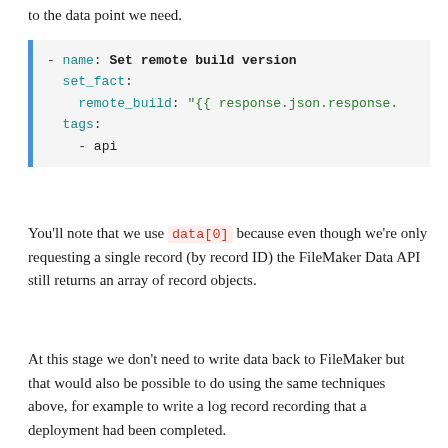to the data point we need.
[Figure (screenshot): Code block showing YAML snippet: - name: Set remote build version, set_fact:, remote_build: "{{ response.json.response.", tags:, - api. Blue left border on light gray background.]
You'll note that we use data[0] because even though we're only requesting a single record (by record ID) the FileMaker Data API still returns an array of record objects.
At this stage we don't need to write data back to FileMaker but that would also be possible to do using the same techniques above, for example to write a log record recording that a deployment had been completed.